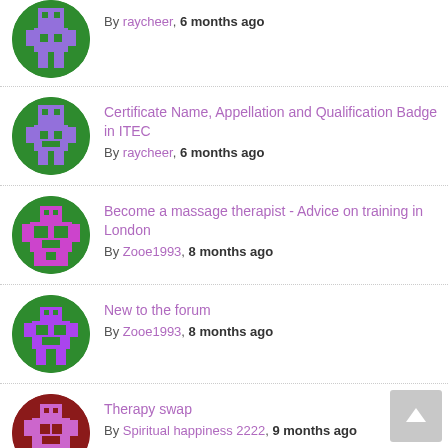By raycheer, 6 months ago
Certificate Name, Appellation and Qualification Badge in ITEC
By raycheer, 6 months ago
Become a massage therapist - Advice on training in London
By Zooe1993, 8 months ago
New to the forum
By Zooe1993, 8 months ago
Therapy swap
By Spiritual happiness 2222, 9 months ago
Past Itec papers
By Triona3, 9 months ago